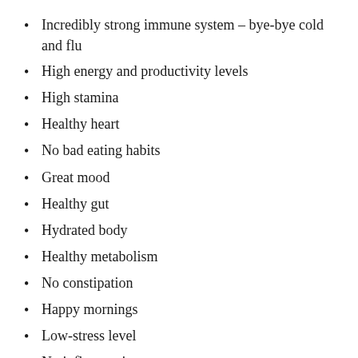Incredibly strong immune system – bye-bye cold and flu
High energy and productivity levels
High stamina
Healthy heart
No bad eating habits
Great mood
Healthy gut
Hydrated body
Healthy metabolism
No constipation
Happy mornings
Low-stress level
No inflammation
Great breath